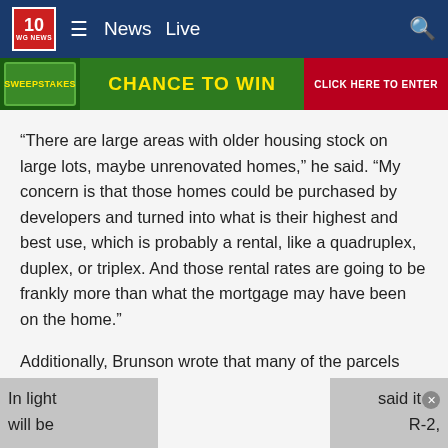10 WG NEWS | ≡ | News | Live | 🔍
[Figure (screenshot): Green advertisement banner with yellow text 'CHANCE TO WIN' and red 'CLICK HERE TO ENTER' button]
“There are large areas with older housing stock on large lots, maybe unrenovated homes,” he said. “My concern is that those homes could be purchased by developers and turned into what is their highest and best use, which is probably a rental, like a quadruplex, duplex, or triplex. And those rental rates are going to be frankly more than what the mortgage may have been on the home.”
Additionally, Brunson wrote that many of the parcels that will be impacted in Forest Acres are already so expensive that there will be “no impact” in terms of housing affordability.
In light [...]  said it® will be  R-2,